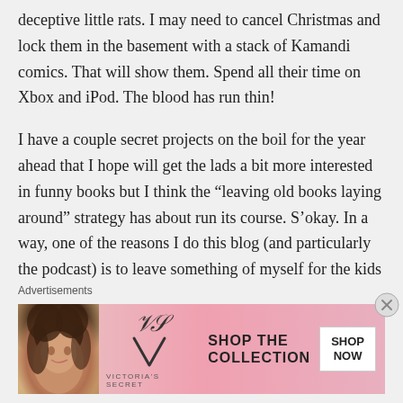deceptive little rats. I may need to cancel Christmas and lock them in the basement with a stack of Kamandi comics. That will show them. Spend all their time on Xbox and iPod. The blood has run thin!
I have a couple secret projects on the boil for the year ahead that I hope will get the lads a bit more interested in funny books but I think the “leaving old books laying around” strategy has about run its course. S’okay. In a way, one of the reasons I do this blog (and particularly the podcast) is to leave something of myself for the kids
Advertisements
[Figure (other): Victoria's Secret advertisement banner with a woman model on the left, VS logo in the center, 'SHOP THE COLLECTION' text, and a white 'SHOP NOW' button.]